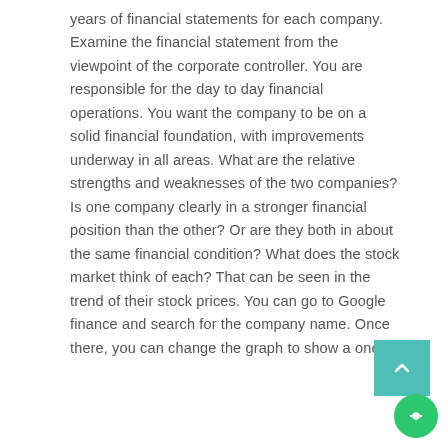years of financial statements for each company. Examine the financial statement from the viewpoint of the corporate controller. You are responsible for the day to day financial operations. You want the company to be on a solid financial foundation, with improvements underway in all areas. What are the relative strengths and weaknesses of the two companies? Is one company clearly in a stronger financial position than the other? Or are they both in about the same financial condition? What does the stock market think of each? That can be seen in the trend of their stock prices. You can go to Google finance and search for the company name. Once there, you can change the graph to show a one